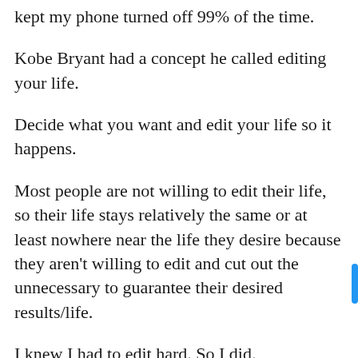kept my phone turned off 99% of the time.
Kobe Bryant had a concept he called editing your life.
Decide what you want and edit your life so it happens.
Most people are not willing to edit their life, so their life stays relatively the same or at least nowhere near the life they desire because they aren't willing to edit and cut out the unnecessary to guarantee their desired results/life.
I knew I had to edit hard. So I did.
In 2021 while working nonstop on my health/trying to manage my often limited energy, I bought hundreds of properties, am finally close to completing the rough draft of a